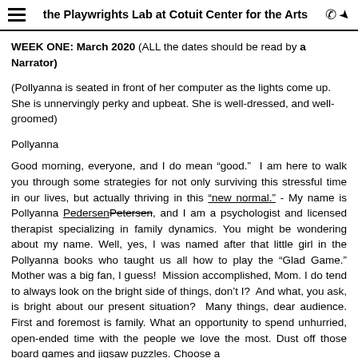the Playwrights Lab at Cotuit Center for the Arts
WEEK ONE: March 2020 (ALL the dates should be read by a Narrator)
(Pollyanna is seated in front of her computer as the lights come up. She is unnervingly perky and upbeat. She is well-dressed, and well-groomed)
Pollyanna
Good morning, everyone, and I do mean "good."  I am here to walk you through some strategies for not only surviving this stressful time in our lives, but actually thriving in this "new normal." - My name is Pollyanna PedersenPetersen, and I am a psychologist and licensed therapist specializing in family dynamics. You might be wondering about my name. Well, yes, I was named after that little girl in the Pollyanna books who taught us all how to play the "Glad Game." Mother was a big fan, I guess!  Mission accomplished, Mom. I do tend to always look on the bright side of things, don't I?  And what, you ask, is bright about our present situation?  Many things, dear audience. First and foremost is family. What an opportunity to spend unhurried, open-ended time with the people we love the most. Dust off those board games and jigsaw puzzles. Choose a